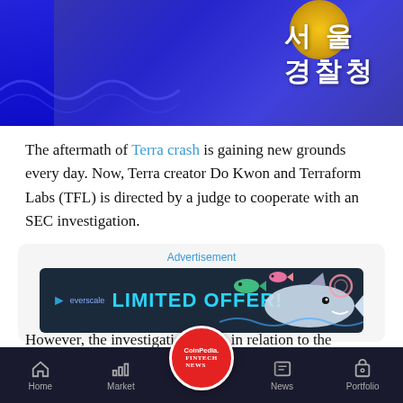[Figure (photo): Blue flag or banner with Korean text '서울경찰청' (Seoul Metropolitan Police Agency) and a gold badge emblem visible at top right]
The aftermath of Terra crash is gaining new grounds every day. Now, Terra creator Do Kwon and Terraform Labs (TFL) is directed by a judge to cooperate with an SEC investigation.
[Figure (other): Advertisement banner for Everscale with 'LIMITED OFFER!' text and cartoon fish/shark graphics on dark background]
However, the investigation is not in relation to the current blockchain disaster. Instead, the SEC is examining whether Terra's tokens are unlawful…. It's similar to a recent
Home | Market | CoinPedia FINTECH NEWS | News | Portfolio